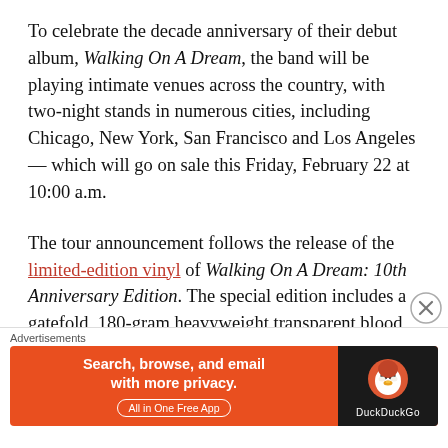To celebrate the decade anniversary of their debut album, Walking On A Dream, the band will be playing intimate venues across the country, with two-night stands in numerous cities, including Chicago, New York, San Francisco and Los Angeles — which will go on sale this Friday, February 22 at 10:00 a.m.
The tour announcement follows the release of the limited-edition vinyl of Walking On A Dream: 10th Anniversary Edition. The special edition includes a gatefold, 180-gram heavyweight transparent blood orange vinyl of Walking On A Dream and a unique code to download the unreleased track "Chrysalis",
featuring the original artwork from the initial 2009
Advertisements
[Figure (other): DuckDuckGo advertisement banner: orange background with text 'Search, browse, and email with more privacy. All in One Free App' and DuckDuckGo logo on dark background.]